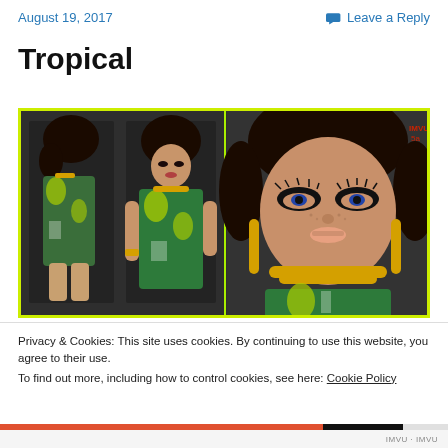August 19, 2017   Leave a Reply
Tropical
[Figure (photo): Three views of a digital avatar/virtual character wearing a tropical green, yellow, and white patterned outfit with gold jewelry and dramatic makeup. The left panel shows a full side pose, middle shows a front-angled pose, and right shows a close-up of the face. Border is bright yellow-green.]
Privacy & Cookies: This site uses cookies. By continuing to use this website, you agree to their use.
To find out more, including how to control cookies, see here: Cookie Policy